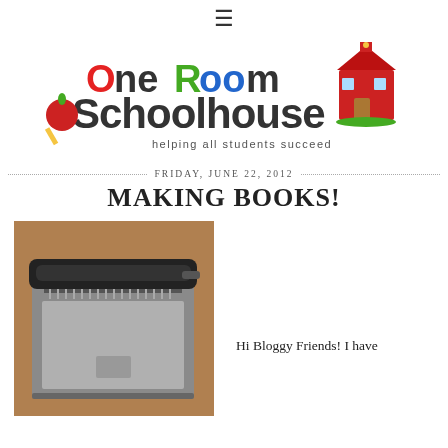≡
[Figure (logo): One Room Schoolhouse blog logo with colorful text and a red schoolhouse illustration. Subtitle reads 'helping all students succeed']
FRIDAY, JUNE 22, 2012
MAKING BOOKS!
[Figure (photo): Photo of a comb binding machine on a brown surface, viewed from above at a slight angle]
Hi Bloggy Friends! I have